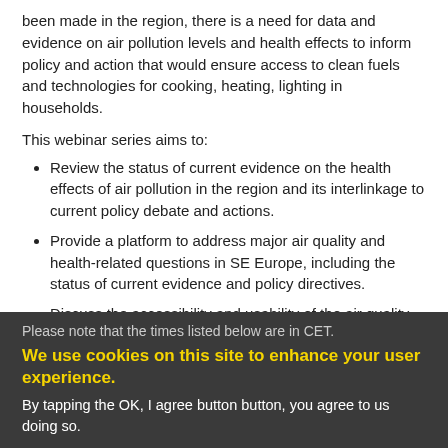been made in the region, there is a need for data and evidence on air pollution levels and health effects to inform policy and action that would ensure access to clean fuels and technologies for cooking, heating, lighting in households.
This webinar series aims to:
Review the status of current evidence on the health effects of air pollution in the region and its interlinkage to current policy debate and actions.
Provide a platform to address major air quality and health-related questions in SE Europe, including the status of current evidence and policy directives.
Discuss the accessibility and usability of the air quality and health data streams to enable use in research and build a regional evidence base.
Please note that the times listed below are in CET.
We use cookies on this site to enhance your user experience.
By tapping the OK, I agree button button, you agree to us doing so.